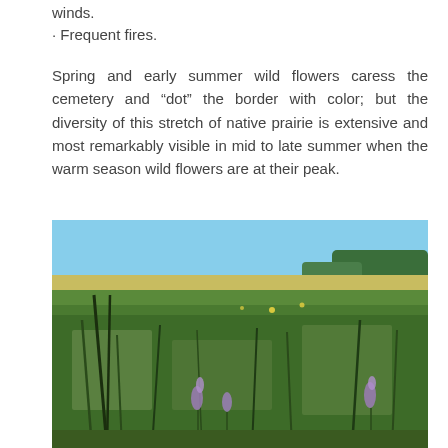winds.
· Frequent fires.
Spring and early summer wild flowers caress the cemetery and “dot” the border with color; but the diversity of this stretch of native prairie is extensive and most remarkably visible in mid to late summer when the warm season wild flowers are at their peak.
[Figure (photo): Photograph of a native prairie landscape showing tall grasses and wildflowers in the foreground, with a field of crops and trees visible in the background under a blue sky.]